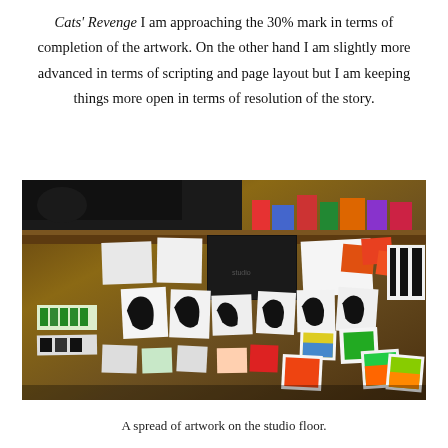Cats' Revenge I am approaching the 30% mark in terms of completion of the artwork. On the other hand I am slightly more advanced in terms of scripting and page layout but I am keeping things more open in terms of resolution of the story.
[Figure (photo): A spread of artwork pinned to a wooden wall in a studio, showing various paintings, prints, and sketches including bold black brushstrokes, red and orange shapes, and colorful smaller pieces on the floor.]
A spread of artwork on the studio floor.